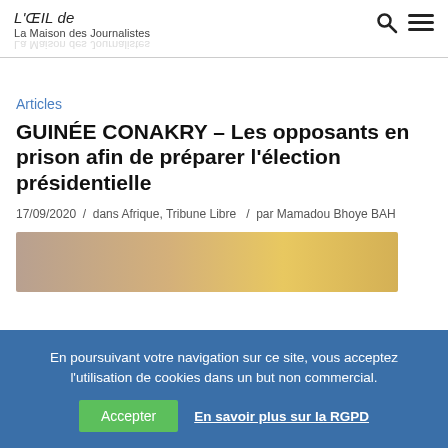L'ŒIL de La Maison des Journalistes
Articles
GUINÉE CONAKRY – Les opposants en prison afin de préparer l'élection présidentielle
17/09/2020 / dans Afrique, Tribune Libre / par Mamadou Bhoye BAH
[Figure (photo): Partial view of an ornate golden ceiling/chandelier interior]
En poursuivant votre navigation sur ce site, vous acceptez l'utilisation de cookies dans un but non commercial.
Accepter | En savoir plus sur la RGPD